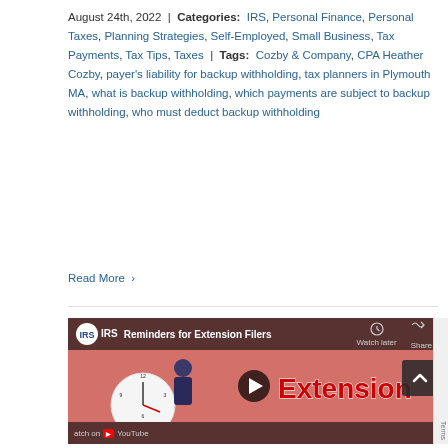August 24th, 2022 | Categories: IRS, Personal Finance, Personal Taxes, Planning Strategies, Self-Employed, Small Business, Tax Payments, Tax Tips, Taxes | Tags: Cozby & Company, CPA Heather Cozby, payer's liability for backup withholding, tax planners in Plymouth MA, what is backup withholding, which payments are subject to backup withholding, who must deduct backup withholding
Read More >
[Figure (screenshot): YouTube video thumbnail for IRS video titled 'Reminders for Extension Filers'. Shows a man holding a clock with the word 'Extension' in large red text on a pink background. Includes a play button in the center, Watch Later and Share icons in the top bar, and YouTube branding at the bottom.]